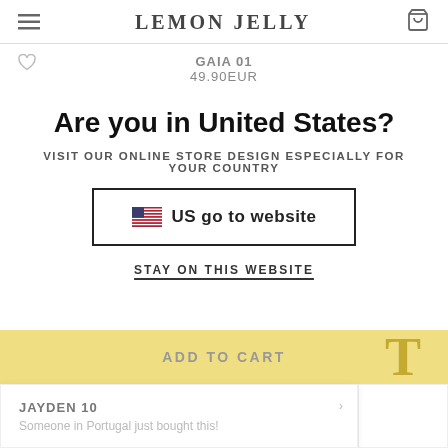LEMON JELLY
GAIA 01
49.90EUR
Are you in United States?
VISIT OUR ONLINE STORE DESIGN ESPECIALLY FOR YOUR COUNTRY
🇺🇸 US go to website
STAY ON THIS WEBSITE
ADD TO CART
JAYDEN 10
Someone in Portugal just bought this!